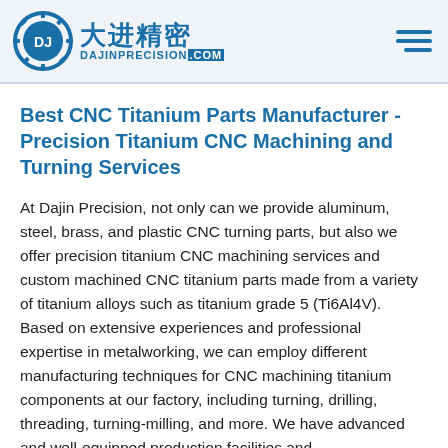大进精密 DAJINPRECISION.COM
Best CNC Titanium Parts Manufacturer - Precision Titanium CNC Machining and Turning Services
At Dajin Precision, not only can we provide aluminum, steel, brass, and plastic CNC turning parts, but also we offer precision titanium CNC machining services and custom machined CNC titanium parts made from a variety of titanium alloys such as titanium grade 5 (Ti6Al4V). Based on extensive experiences and professional expertise in metalworking, we can employ different manufacturing techniques for CNC machining titanium components at our factory, including turning, drilling, threading, turning-milling, and more. We have advanced and well-equipped production facilities and